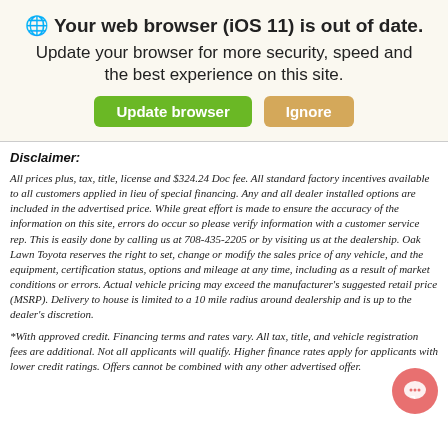[Figure (screenshot): Browser update banner with globe icon, bold title 'Your web browser (iOS 11) is out of date.', subtitle 'Update your browser for more security, speed and the best experience on this site.', and two buttons: green 'Update browser' and tan 'Ignore']
Disclaimer:
All prices plus, tax, title, license and $324.24 Doc fee. All standard factory incentives available to all customers applied in lieu of special financing. Any and all dealer installed options are included in the advertised price. While great effort is made to ensure the accuracy of the information on this site, errors do occur so please verify information with a customer service rep. This is easily done by calling us at 708-435-2205 or by visiting us at the dealership. Oak Lawn Toyota reserves the right to set, change or modify the sales price of any vehicle, and the equipment, certification status, options and mileage at any time, including as a result of market conditions or errors. Actual vehicle pricing may exceed the manufacturer’s suggested retail price (MSRP). Delivery to house is limited to a 10 mile radius around dealership and is up to the dealer’s discretion.
*With approved credit. Financing terms and rates vary. All tax, title, and vehicle registration fees are additional. Not all applicants will qualify. Higher finance rates apply for applicants with lower credit ratings. Offers cannot be combined with any other advertised offer.